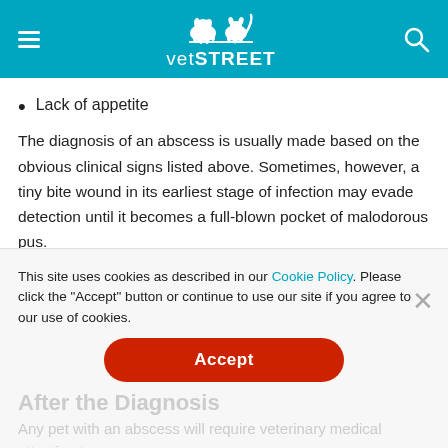vetSTREET
Lack of appetite
The diagnosis of an abscess is usually made based on the obvious clinical signs listed above. Sometimes, however, a tiny bite wound in its earliest stage of infection may evade detection until it becomes a full-blown pocket of malodorous pus. A veterinarian will often puncture a swelling with a sterile needle to obtain a sample of pus to positively identify the swelling as an abscess. Submitting a sample of the fluid to a microbiology laboratory
for culture and sensitivity testing may be part of the diagnostic process in some cases.
This site uses cookies as described in our Cookie Policy. Please click the "Accept" button or continue to use our site if you agree to our use of cookies.
After the Diagnosis
Any pet with an abscess will require veterinary medical attention to